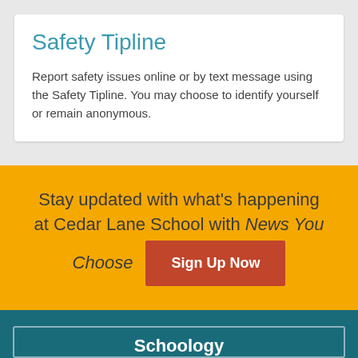Safety Tipline
Report safety issues online or by text message using the Safety Tipline.  You may choose to identify yourself or remain anonymous.
Stay updated with what's happening at Cedar Lane School with News You Choose
Sign Up Now
Schoology